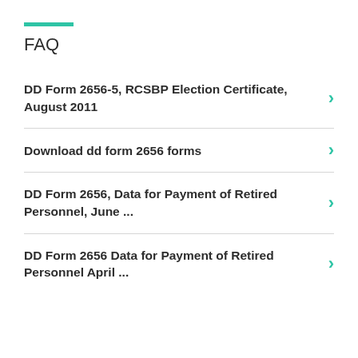FAQ
DD Form 2656-5, RCSBP Election Certificate, August 2011
Download dd form 2656 forms
DD Form 2656, Data for Payment of Retired Personnel, June ...
DD Form 2656 Data for Payment of Retired Personnel April ...